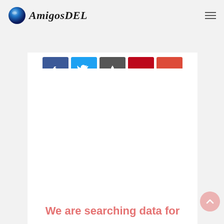AmigosDEL
[Figure (screenshot): Social media share buttons: Facebook (blue), Twitter (blue), Upload/Share (dark gray), Pinterest (red), Google Plus (red-orange)]
We are searching data for